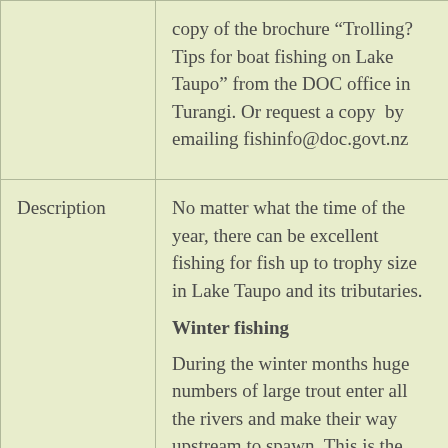|  | copy of the brochure "Trolling? Tips for boat fishing on Lake Taupo" from the DOC office in Turangi. Or request a copy by emailing fishinfo@doc.govt.nz |
| Description | No matter what the time of the year, there can be excellent fishing for fish up to trophy size in Lake Taupo and its tributaries.

Winter fishing

During the winter months huge numbers of large trout enter all the rivers and make their way upstream to spawn. This is the premier fishing time; the trout that |